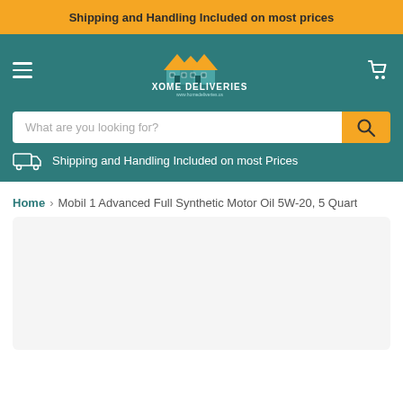Shipping and Handling Included on most prices
[Figure (logo): Home Deliveries logo with house/roof illustration and text 'XOME DELIVERIES www.homedeliveries.us' on teal navigation bar]
What are you looking for?
Shipping and Handling Included on most Prices
Home > Mobil 1 Advanced Full Synthetic Motor Oil 5W-20, 5 Quart
[Figure (photo): Product image area — light gray placeholder rectangle]